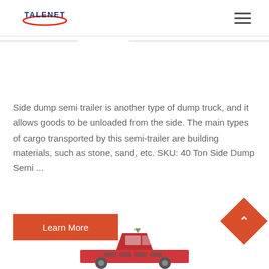TALENET
Side dump semi trailer is another type of dump truck, and it allows goods to be unloaded from the side. The main types of cargo transported by this semi-trailer are building materials, such as stone, sand, etc. SKU: 40 Ton Side Dump Semi ...
Learn More
[Figure (photo): Partial view of a red dump semi trailer vehicle at the bottom of the page]